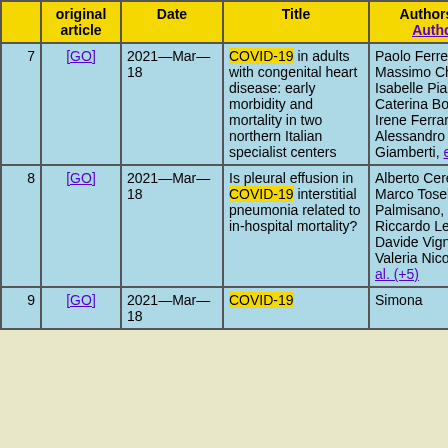|  | original article | Date | Title | Authors All Authors |
| --- | --- | --- | --- | --- |
| 7 | [GO] | 2021—Mar—18 | COVID-19 in adults with congenital heart disease: early morbidity and mortality in two northern Italian specialist centers | Paolo Ferrero, Massimo Chessa, Isabelle Piazza, Caterina Bonino, Irene Ferrari, Alessandro Giamberti, et al. (+2) |
| 8 | [GO] | 2021—Mar—18 | Is pleural effusion in COVID-19 interstitial pneumonia related to in-hospital mortality? | Alberto Cereda, Marco Toselli, Anna Palmisano, Riccardo Leone, Davide Vignale, Valeria Nicoletti, et al. (+5) |
| 9 | [GO] | 2021—Mar—18 | COVID-19 | Simona |